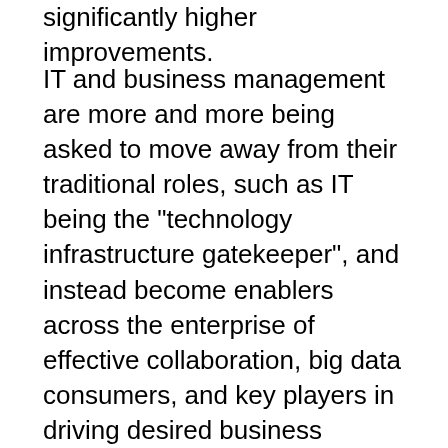significantly higher improvements.
IT and business management are more and more being asked to move away from their traditional roles, such as IT being the "technology infrastructure gatekeeper", and instead become enablers across the enterprise of effective collaboration, big data consumers, and key players in driving desired business outcomes. Marketing leaders look to technology as a way to facilitate the customer's journey and his positive experience of it, bring more clients, and meet increasingly higher loyalty goals. They rely on IT projects to enable big data-based behavioral targeting anywhere in the global market. This means projects to analyze search engine results, improve website personalization and optimization, and building of mobile applications for a